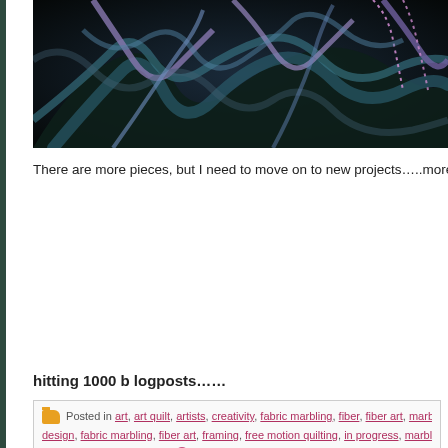[Figure (photo): Marbled fabric art with swirling purple, teal, and dark blue patterns, partially visible at top of page]
There are more pieces, but I need to move on to new projects…..more on an up
hitting 1000 b logposts……
Posted in art, art quilt, artists, creativity, fabric marbling, fiber, fiber art, marbled fabric, ma... design, fabric marbling, fiber art, framing, free motion quilting, in progress, marbled fabric, mar... Threads, textiles, texture | Comments Closed